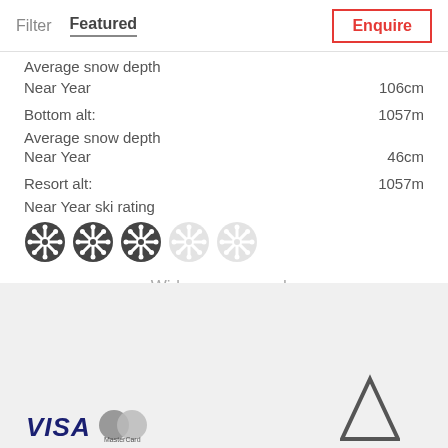Filter  Featured  Enquire
Average snow depth
Near Year  106cm
Bottom alt:  1057m
Average snow depth
Near Year  46cm
Resort alt:  1057m
Near Year ski rating
[Figure (other): 5 snowflake rating icons, 3 filled dark and 2 light grey, indicating a 3/5 ski rating]
Widen your search:
All New Year ski holidays
Austrian New Year ski holidays
[Figure (logo): VISA logo, MasterCard logo, and a mountain/triangle icon in the footer area]